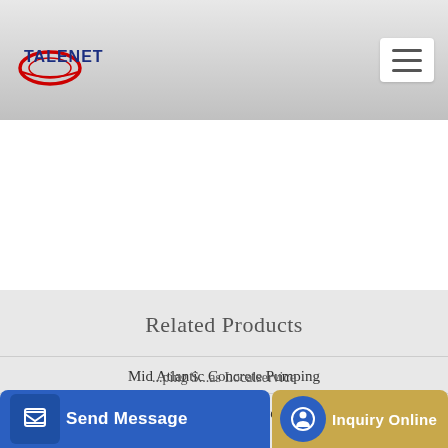TALENET
Related Products
Mid Atlantic Concrete Pumping
Concrete Mixer truck Archives BigRigVin
...ping S...as Localservice
Send Message
Inquiry Online